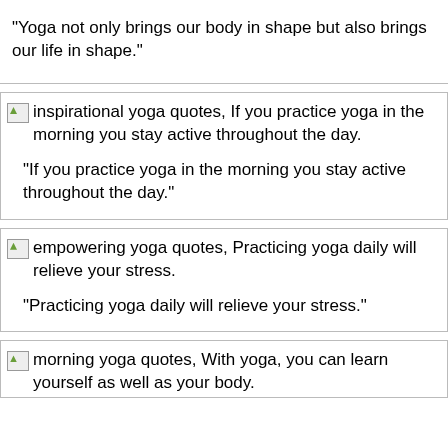"Yoga not only brings our body in shape but also brings our life in shape."
[Figure (illustration): Broken image placeholder labeled 'inspirational yoga quotes, If you practice yoga in the morning you stay active throughout the day.']
"If you practice yoga in the morning you stay active throughout the day."
[Figure (illustration): Broken image placeholder labeled 'empowering yoga quotes, Practicing yoga daily will relieve your stress.']
"Practicing yoga daily will relieve your stress."
[Figure (illustration): Broken image placeholder labeled 'morning yoga quotes, With yoga, you can learn yourself as well as your body.']